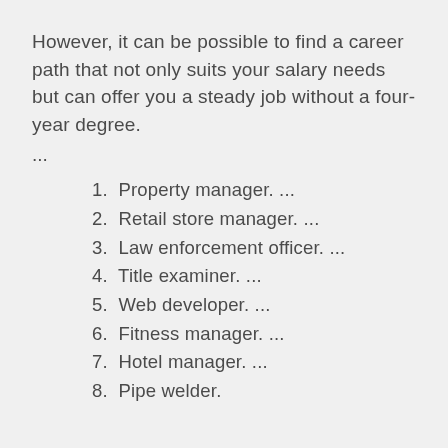However, it can be possible to find a career path that not only suits your salary needs but can offer you a steady job without a four-year degree.
...
1. Property manager. ...
2. Retail store manager. ...
3. Law enforcement officer. ...
4. Title examiner. ...
5. Web developer. ...
6. Fitness manager. ...
7. Hotel manager. ...
8. Pipe welder.